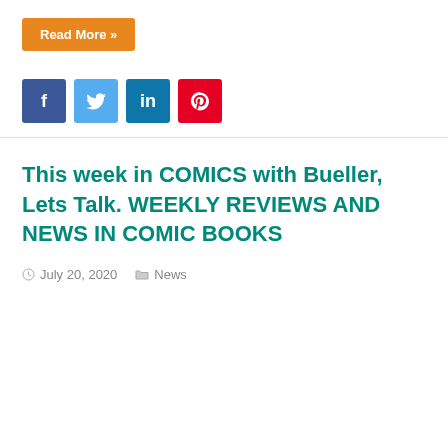Read More »
[Figure (other): Social media sharing icons: Facebook (dark blue), Twitter (light blue), LinkedIn (medium blue), Pinterest (red)]
This week in COMICS with Bueller, Lets Talk. WEEKLY REVIEWS AND NEWS IN COMIC BOOKS
July 20, 2020  News